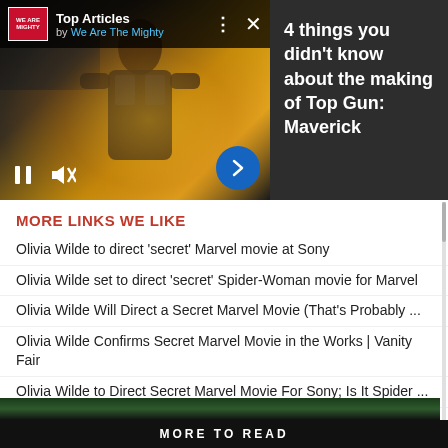[Figure (screenshot): Video player showing man in flight suit (Top Gun: Maverick), with Top Articles header by We Are The Mighty, pause and mute controls, and navigation arrow. Dark overlay with film scene background.]
4 things you didn't know about the making of Top Gun: Maverick
MORE LINKS WE LIKE
Olivia Wilde to direct 'secret' Marvel movie at Sony
Olivia Wilde set to direct 'secret' Spider-Woman movie for Marvel
Olivia Wilde Will Direct a Secret Marvel Movie (That's Probably ...
Olivia Wilde Confirms Secret Marvel Movie in the Works | Vanity Fair
Olivia Wilde to Direct Secret Marvel Movie For Sony; Is It Spider ...
MORE TO READ